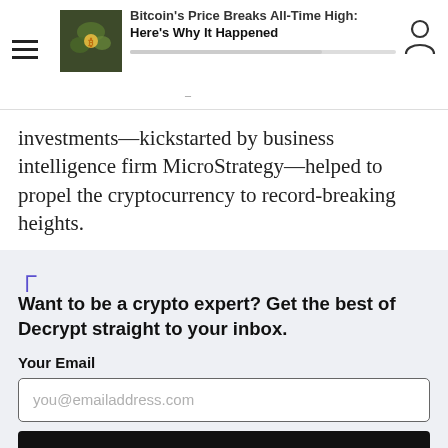Bitcoin's Price Breaks All-Time High: Here's Why It Happened
investments—kickstarted by business intelligence firm MicroStrategy—helped to propel the cryptocurrency to record-breaking heights.
Want to be a crypto expert? Get the best of Decrypt straight to your inbox.
Your Email
you@emailaddress.com
Get it!